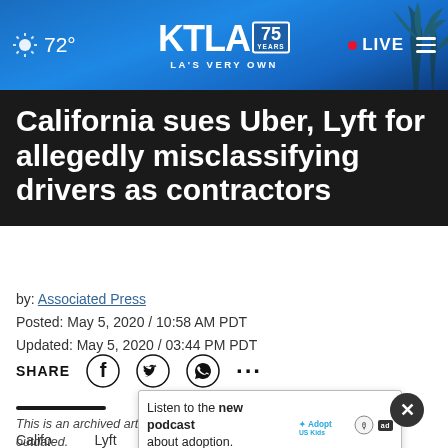72° KTLA 75 YEARS LA'S VERY OWN • LIVE
California sues Uber, Lyft for allegedly misclassifying drivers as contractors
by: Associated Press
Posted: May 5, 2020 / 10:58 AM PDT
Updated: May 5, 2020 / 03:44 PM PDT
SHARE [social icons]
This is an archived article and the information in the article may be outdated.
Please look at the time stamp on the story to see when it was last updated.
[Figure (other): Advertisement banner: Listen to the new podcast about adoption. AdoptUSKids logo.]
California ... Lyft